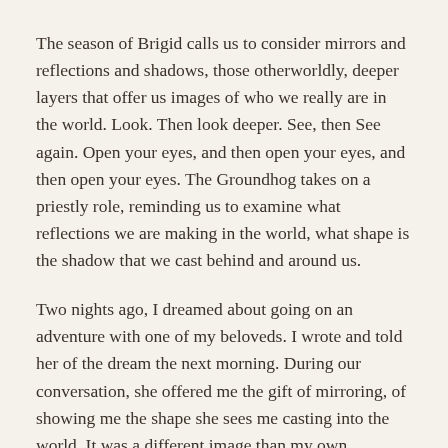The season of Brigid calls us to consider mirrors and reflections and shadows, those otherworldly, deeper layers that offer us images of who we really are in the world. Look. Then look deeper. See, then See again. Open your eyes, and then open your eyes, and then open your eyes. The Groundhog takes on a priestly role, reminding us to examine what reflections we are making in the world, what shape is the shadow that we cast behind and around us.
Two nights ago, I dreamed about going on an adventure with one of my beloveds. I wrote and told her of the dream the next morning. During our conversation, she offered me the gift of mirroring, of showing me the shape she sees me casting into the world. It was a different image than my own perceptions offered me, and gentler. My own sense of inadequacy, my fierce judgement of myself, has